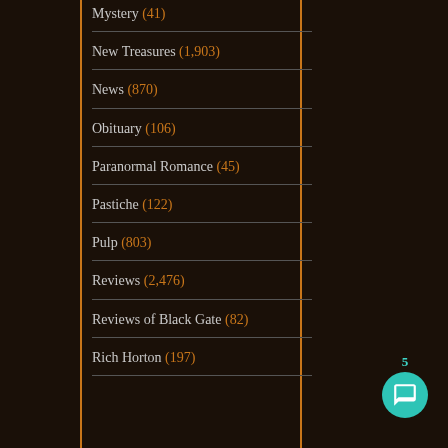Mystery (41)
New Treasures (1,903)
News (870)
Obituary (106)
Paranormal Romance (45)
Pastiche (122)
Pulp (803)
Reviews (2,476)
Reviews of Black Gate (82)
Rich Horton (197)